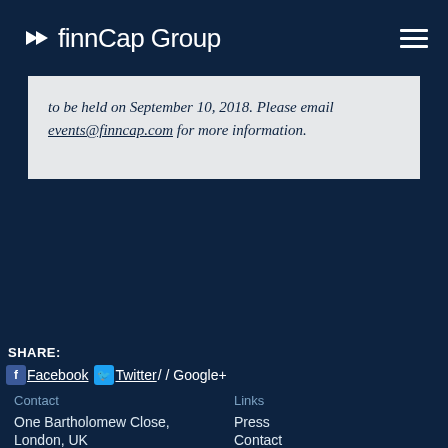finnCap Group
to be held on September 10, 2018. Please email events@finncap.com for more information.
SHARE:
Facebook  Twitter  /  /  Google+
Contact
One Bartholomew Close,
London, UK
Links
Press
Contact